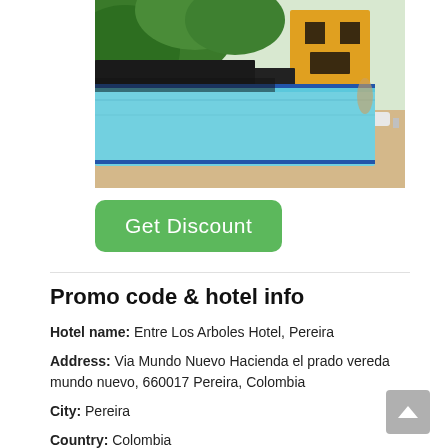[Figure (photo): Hotel pool area with lounge chairs, lush green trees and a yellow building in the background]
Get Discount
Promo code & hotel info
Hotel name: Entre Los Arboles Hotel, Pereira
Address: Via Mundo Nuevo Hacienda el prado vereda mundo nuevo, 660017 Pereira, Colombia
City: Pereira
Country: Colombia